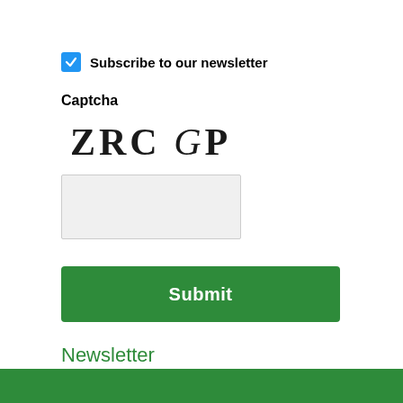Subscribe to our newsletter
Captcha
[Figure (other): CAPTCHA image showing distorted text: ZRC GP]
[Figure (other): Text input field for CAPTCHA entry]
Submit
Newsletter
Subscribe to our mailing list